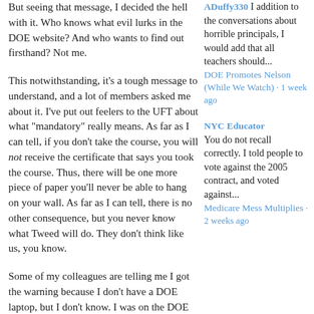But seeing that message, I decided the hell with it. Who knows what evil lurks in the DOE website? And who wants to find out firsthand? Not me.
This notwithstanding, it's a tough message to understand, and a lot of members asked me about it. I've put out feelers to the UFT about what "mandatory" really means. As far as I can tell, if you don't take the course, you will not receive the certificate that says you took the course. Thus, there will be one more piece of paper you'll never be able to hang on your wall. As far as I can tell, there is no other consequence, but you never know what Tweed will do. They don't think like us, you know.
Some of my colleagues are telling me I got the warning because I don't have a DOE laptop, but I don't know. I was on the DOE wifi when I saw it. I suppose I could wrestle my colleagues over one of the hard-wired computers in the office. Some of them look stronger than me, though. And who knows if they have martial arts training or whatever? In fact I carry this little laptop precisely so I won't need to do that. (I also carry it to utilize tech in my classroom, but none of the tech in my classroom works. The DOE can't
ADuffy330 I addition to the conversations about horrible principals, I would add that all teachers should...
DOE Promotes Nelson (While We Watch) · 1 week ago
NYC Educator You do not recall correctly. I told people to vote against the 2005 contract, and voted against...
Medicare Mess Multiplies · 2 weeks ago